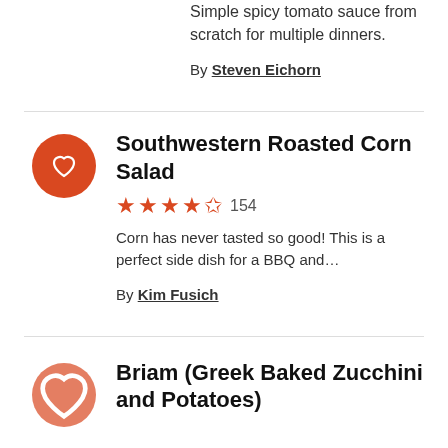Simple spicy tomato sauce from scratch for multiple dinners.
By Steven Eichorn
Southwestern Roasted Corn Salad
★★★★½ 154
Corn has never tasted so good! This is a perfect side dish for a BBQ and…
By Kim Fusich
Briam (Greek Baked Zucchini and Potatoes)